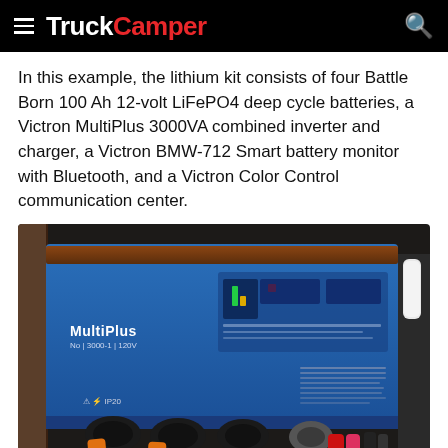TruckCamper
In this example, the lithium kit consists of four Battle Born 100 Ah 12-volt LiFePO4 deep cycle batteries, a Victron MultiPlus 3000VA combined inverter and charger, a Victron BMW-712 Smart battery monitor with Bluetooth, and a Victron Color Control communication center.
[Figure (photo): Photo of a blue Victron MultiPlus 3000VA combined inverter and charger unit mounted in a truck camper, with wiring connections visible at the bottom.]